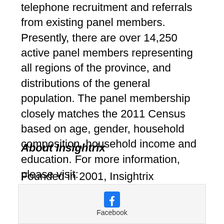telephone recruitment and referrals from existing panel members. Presently, there are over 14,250 active panel members representing all regions of the province, and distributions of the general population. The panel membership closely matches the 2011 Census based on age, gender, household composition, household income and education. For more information, please visit: http://saskwatch.ca.
About Insightrix
Founded in 2001, Insightrix Research Inc. is a full-service market research firm that helps clients develop, administer, and manage data collection and information
[Figure (logo): Facebook logo icon with label 'Facebook']